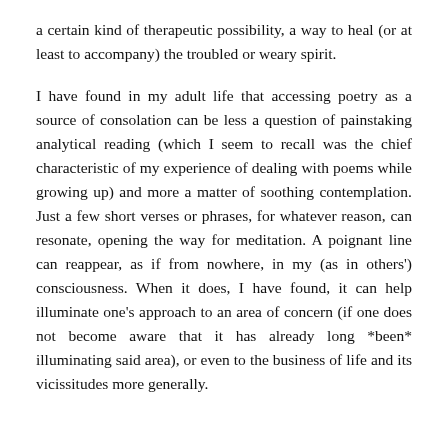a certain kind of therapeutic possibility, a way to heal (or at least to accompany) the troubled or weary spirit.
I have found in my adult life that accessing poetry as a source of consolation can be less a question of painstaking analytical reading (which I seem to recall was the chief characteristic of my experience of dealing with poems while growing up) and more a matter of soothing contemplation. Just a few short verses or phrases, for whatever reason, can resonate, opening the way for meditation. A poignant line can reappear, as if from nowhere, in my (as in others') consciousness. When it does, I have found, it can help illuminate one's approach to an area of concern (if one does not become aware that it has already long *been* illuminating said area), or even to the business of life and its vicissitudes more generally.